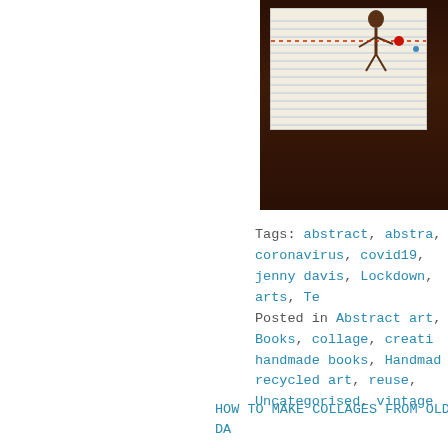[Figure (photo): Photograph of a handmade notebook/book with lined paper, red stitching, and a small brown figure/silhouette on a dark brown background.]
Tags: abstract, abstra..., coronavirus, covid19, ..., jenny davis, Lockdown, ..., arts, Te...
Posted in Abstract art, ..., Books, collage, creati..., handmade books, Handmad..., recycled art, reuse, ..., Uncategorised, vintage...
HOW TO MAKE COLLAGES FROM OLD DA...